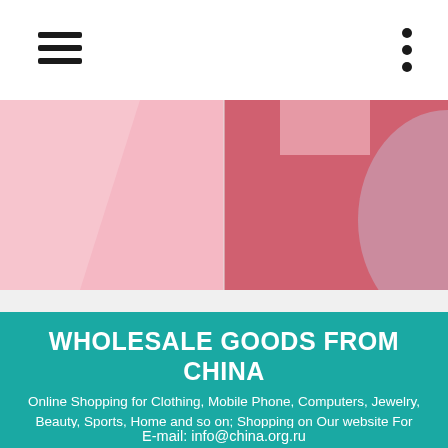Navigation bar with hamburger menu and dots menu
[Figure (photo): Pink-toned hero image showing clothing or product items with light pink and rose/coral color blocks side by side]
WHOLESALE GOODS FROM CHINA
Online Shopping for Clothing, Mobile Phone, Computers, Jewelry, Beauty, Sports, Home and so on; Shopping on Our website For Small Businesses..
E-mail: info@china.org.ru